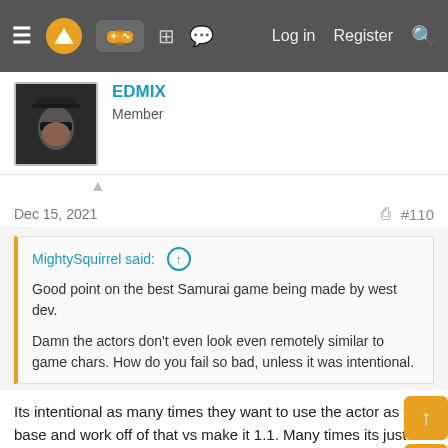Navigation bar with menu, logo, gamepad icon, grid icon, chat icon, Log in, Register, Search
[Figure (screenshot): User avatar showing a character with sunglasses and dark hat]
EDMIX
Member
Dec 15, 2021
#110
MightySquirrel said:
Good point on the best Samurai game being made by west dev.

Damn the actors don't even look even remotely similar to game chars. How do you fail so bad, unless it was intentional.
Its intentional as many times they want to use the actor as the base and work off of that vs make it 1.1. Many times its just based on what the art director or character artist is going for.
TintoConCasera said: